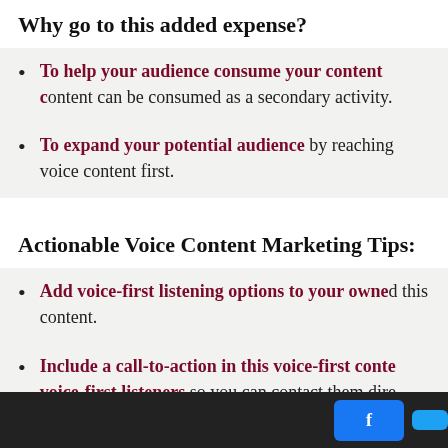Why go to this added expense?
To help your audience consume your content c… content can be consumed as a secondary activity.
To expand your potential audience by reaching… voice content first.
Actionable Voice Content Marketing Tips:
Add voice-first listening options to your owne… this content.
Include a call-to-action in this voice-first conte… voice-first listeners so you can contact them dire…
Facebook share button | Twitter share button